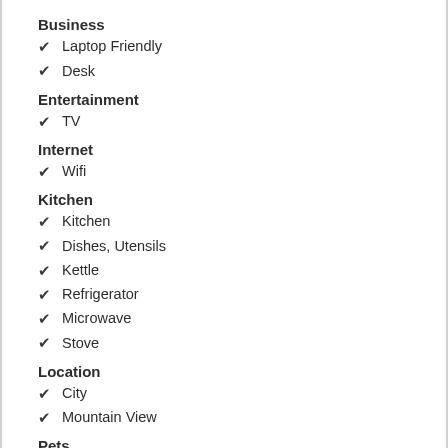Business
✔ Laptop Friendly
✔ Desk
Entertainment
✔ TV
Internet
✔ Wifi
Kitchen
✔ Kitchen
✔ Dishes, Utensils
✔ Kettle
✔ Refrigerator
✔ Microwave
✔ Stove
Location
✔ City
✔ Mountain View
Pets
✔ Pets Not Allowed
Pool and Wellness